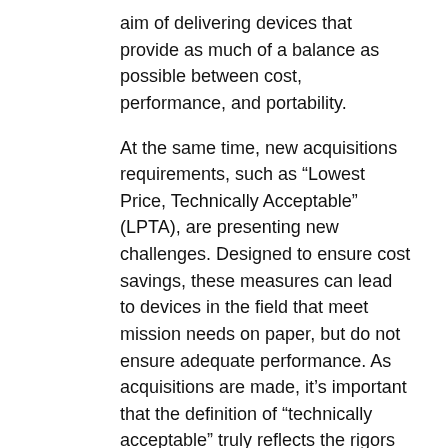aim of delivering devices that provide as much of a balance as possible between cost, performance, and portability.
At the same time, new acquisitions requirements, such as “Lowest Price, Technically Acceptable” (LPTA), are presenting new challenges. Designed to ensure cost savings, these measures can lead to devices in the field that meet mission needs on paper, but do not ensure adequate performance. As acquisitions are made, it’s important that the definition of “technically acceptable” truly reflects the rigors of the mission at hand.
3. Cost Savings Through Standardization
The Army is looking for technology solutions that reduce costs by deploying many similar